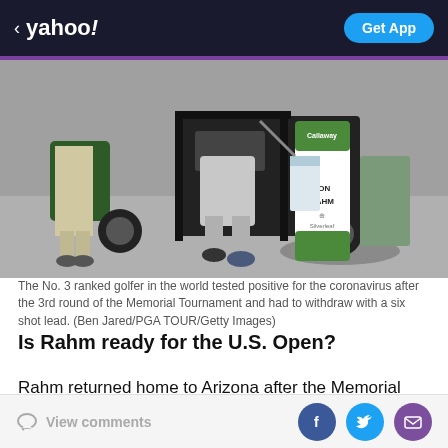< yahoo!  Get App
[Figure (photo): Jon Rahm's golf bag on a golf cart, with 'JON RAHM' and 'Silverleaf' visible on the Callaway bag. A person in grey pants is seated on the cart, another person in khakis stands nearby.]
The No. 3 ranked golfer in the world tested positive for the coronavirus after the 3rd round of the Memorial Tournament and had to withdraw with a six shot lead. (Ben Jared/PGA TOUR/Getty Images)
Is Rahm ready for the U.S. Open?
Rahm returned home to Arizona after the Memorial Tournament and isolated there until he produced two
View comments